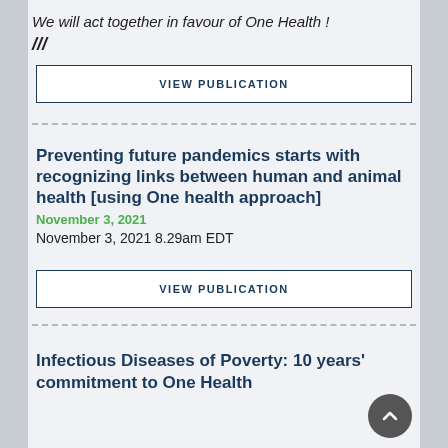We will act together in favour of One Health !
///
VIEW PUBLICATION
Preventing future pandemics starts with recognizing links between human and animal health [using One health approach]
November 3, 2021
November 3, 2021 8.29am EDT
VIEW PUBLICATION
Infectious Diseases of Poverty: 10 years' commitment to One Health